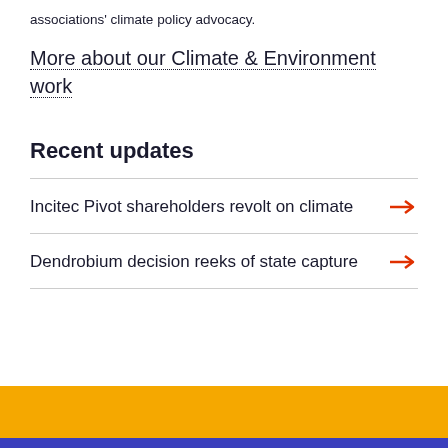associations' climate policy advocacy.
More about our Climate & Environment work
Recent updates
Incitec Pivot shareholders revolt on climate
Dendrobium decision reeks of state capture